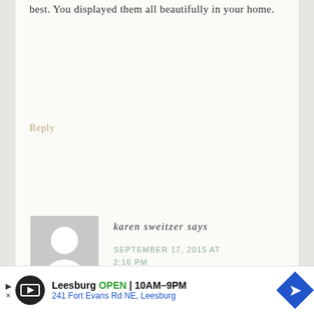best. You displayed them all beautifully in your home.
Reply
[Figure (illustration): Generic user avatar placeholder: grey square with white silhouette of a person (head circle and shoulders)]
karen sweitzer says
SEPTEMBER 17, 2015 AT 2:16 PM
Good morning. . I LOVE your home. I did visit the sweet ETSY shop. I particularly liked the aqua pumpkin,
Leesburg OPEN | 10AM–9PM 241 Fort Evans Rd NE, Leesburg